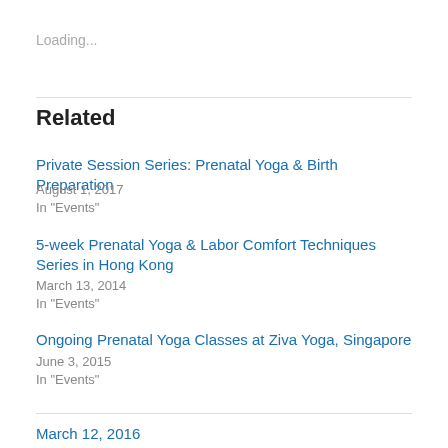Loading...
Related
Private Session Series: Prenatal Yoga & Birth Preparation
August 1, 2017
In "Events"
5-week Prenatal Yoga & Labor Comfort Techniques Series in Hong Kong
March 13, 2014
In "Events"
Ongoing Prenatal Yoga Classes at Ziva Yoga, Singapore
June 3, 2015
In "Events"
March 12, 2016